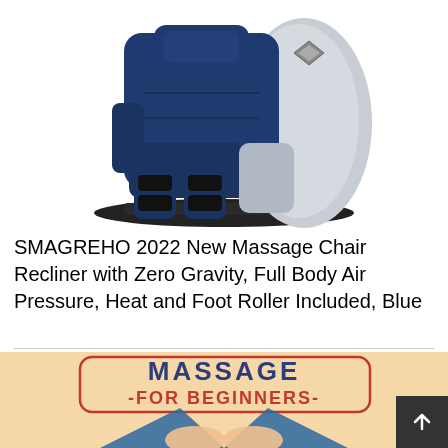[Figure (photo): Blue and gray massage chair recliner with zero gravity design, showing seat, leg rests, and arm panels on white background]
SMAGREHO 2022 New Massage Chair Recliner with Zero Gravity, Full Body Air Pressure, Heat and Foot Roller Included, Blue
[Figure (illustration): Book cover illustration showing 'MASSAGE FOR BEGINNERS' text with a cartoon person giving a massage, peach/tan background with blue accents]